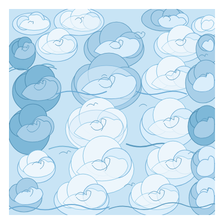[Figure (illustration): A seamless decorative pattern of traditional Chinese-style swirling clouds in various shades of blue on a light blue background. The clouds are drawn with spiral and curved line motifs, forming a dense, all-over pattern. The illustration features multiple overlapping cloud forms with intricate scroll and curl details throughout.]